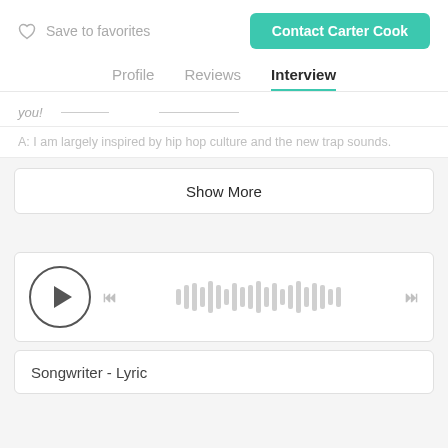Save to favorites
Contact Carter Cook
Profile  Reviews  Interview
you!
A: I am largely inspired by hip hop culture and the new trap sounds.
Show More
[Figure (other): Audio player widget with play button circle, skip controls, and waveform visualization]
Songwriter - Lyric